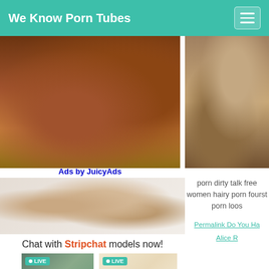We Know Porn Tubes
[Figure (photo): Adult content advertisement image - top left]
Ads by JuicyAds
[Figure (photo): Adult content image - middle left]
Chat with Stripchat models now!
[Figure (photo): LIVE thumbnail 1]
[Figure (photo): LIVE thumbnail 2]
[Figure (photo): Adult content image - right column]
porn dirty talk free women hairy porn fourst porn loos
Permalink Do You Ha
Alice R